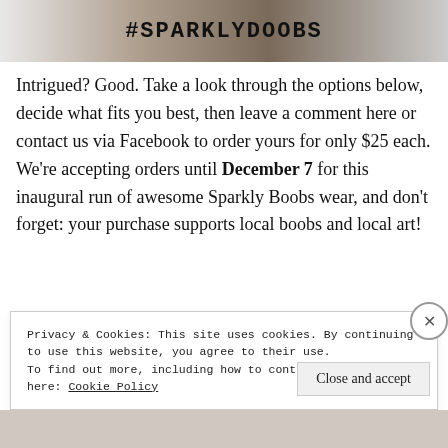[Figure (photo): Photo strip showing #SPARKLYBOOBS hashtag text on fabric/merchandise with wooden surface in background]
Intrigued? Good. Take a look through the options below, decide what fits you best, then leave a comment here or contact us via Facebook to order yours for only $25 each. We’re accepting orders until December 7 for this inaugural run of awesome Sparkly Boobs wear, and don’t forget: your purchase supports local boobs and local art!
Privacy & Cookies: This site uses cookies. By continuing to use this website, you agree to their use.
To find out more, including how to control cookies, see here: Cookie Policy